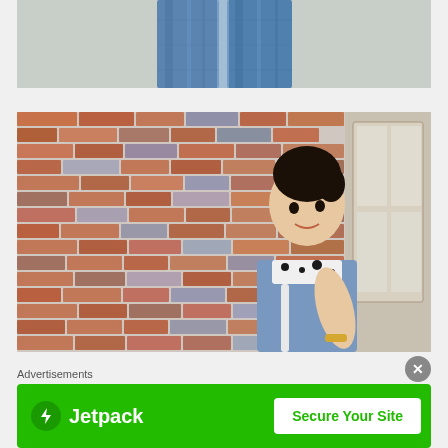[Figure (photo): Close-up photo showing the lower half of a person wearing blue/white jeans against a light grey-green background]
[Figure (photo): Young woman standing against a colorful brick wall, wearing a denim shirt over a black and white spotted scarf/bandana, with a white strap bag, looking upward and smiling slightly]
Advertisements
[Figure (other): Jetpack advertisement banner with green background, lightning bolt icon, Jetpack logo, and 'Secure Your Site' button]